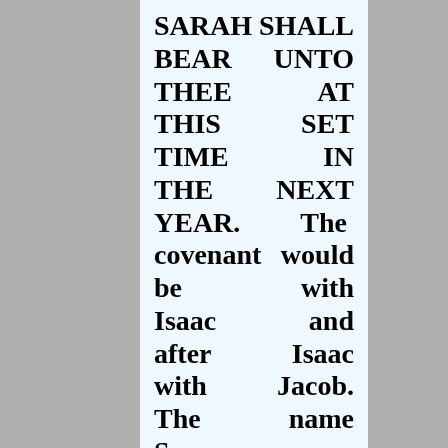SARAH SHALL BEAR UNTO THEE AT THIS SET TIME IN THE NEXT YEAR. The covenant would be with Isaac and after Isaac with Jacob. The name Saxon actually is derived from Isaac. There